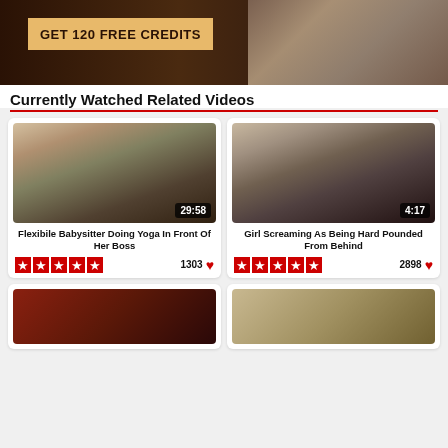[Figure (photo): Advertisement banner with text GET 120 FREE CREDITS on tan/gold background, dark brown background with legs image on right]
Currently Watched Related Videos
[Figure (photo): Video thumbnail: Flexibile Babysitter Doing Yoga In Front Of Her Boss, duration 29:58]
Flexibile Babysitter Doing Yoga In Front Of Her Boss
1303 ♥ (5 stars)
[Figure (photo): Video thumbnail: Girl Screaming As Being Hard Pounded From Behind, duration 4:17]
Girl Screaming As Being Hard Pounded From Behind
2898 ♥ (5 stars)